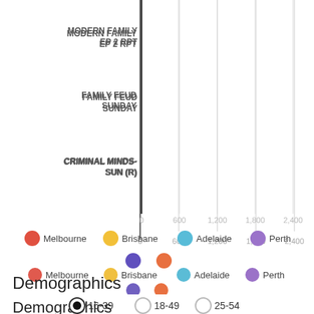[Figure (bar-chart): Horizontal bar chart (partial, top cut off) with axis values 0, 600, 1200, 1800, 2400]
[Figure (infographic): Legend: Melbourne (red circle), Brisbane (yellow circle), Adelaide (blue circle), Perth (purple circle), plus two additional dots (purple and orange)]
Demographics
[Figure (infographic): Legend: 16-39 (filled circle), 18-49 (outline circle), 25-54 (outline circle)]
[Figure (bar-chart): Horizontal bar chart showing THE BLOCK -SUN (long green bar) and THE BIG MUSIC QUIZ (shorter red bar), partial view]